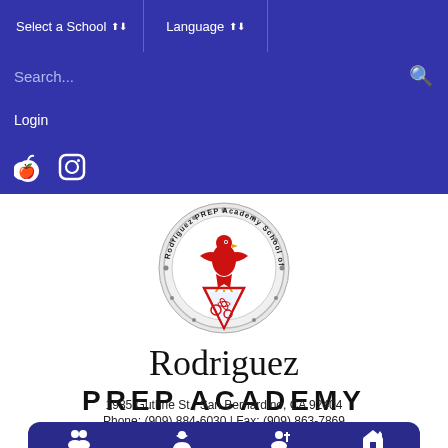Select a School | Language
Search...
Login
Social media icons (Peachjar, Instagram)
[Figure (logo): Rodriguez PREP Academy School of Engineering and Design circular logo with eagle and science/gear imagery]
Rodriguez PREP ACADEMY
1985 Guthrie St., San Bernardino, CA 92404
Phone: (909) 884-6030 | Fax: (909) 863-7869
Parents | Students | Staff | Board